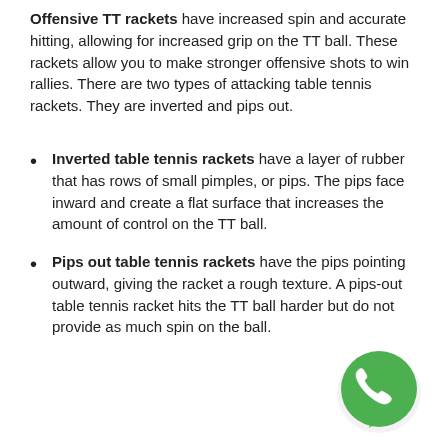Offensive TT rackets have increased spin and accurate hitting, allowing for increased grip on the TT ball. These rackets allow you to make stronger offensive shots to win rallies. There are two types of attacking table tennis rackets. They are inverted and pips out.
Inverted table tennis rackets have a layer of rubber that has rows of small pimples, or pips. The pips face inward and create a flat surface that increases the amount of control on the TT ball.
Pips out table tennis rackets have the pips pointing outward, giving the racket a rough texture. A pips-out table tennis racket hits the TT ball harder but do not provide as much spin on the ball.
[Figure (logo): WhatsApp logo — green circle with white phone handset icon]